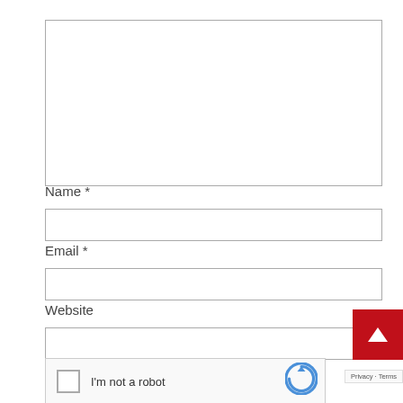[Figure (screenshot): A large empty textarea input box with a resize handle in the bottom right corner]
Name *
[Figure (screenshot): An empty single-line text input field for Name]
Email *
[Figure (screenshot): An empty single-line text input field for Email]
Website
[Figure (screenshot): An empty single-line text input field for Website, partially obscured by a red back-to-top button]
[Figure (screenshot): reCAPTCHA widget with checkbox, 'I'm not a robot' text, and reCAPTCHA logo. Privacy and Terms links visible.]